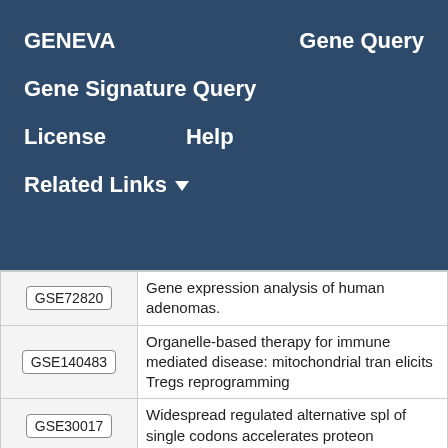GENEVA
Gene Query
Gene Signature Query
License
Help
Related Links ▼
| ID | Description |
| --- | --- |
| GSE72820 | Gene expression analysis of human adenomas. |
| GSE140483 | Organelle-based therapy for immune mediated disease: mitochondrial tran elicits Tregs reprogramming |
| GSE30017 | Widespread regulated alternative spl of single codons accelerates proteon |